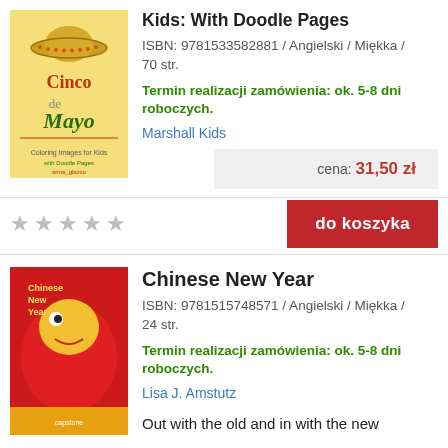Cinco de Mayo Coloring Images for Kids: With Doodle Pages
ISBN: 9781533582881 / Angielski / Miękka / 70 str.
Termin realizacji zamówienia: ok. 5-8 dni roboczych.
Marshall Kids
cena: 31,50 zł
do koszyka
Chinese New Year
ISBN: 9781515748571 / Angielski / Miękka / 24 str.
Termin realizacji zamówienia: ok. 5-8 dni roboczych.
Lisa J. Amstutz
Out with the old and in with the new